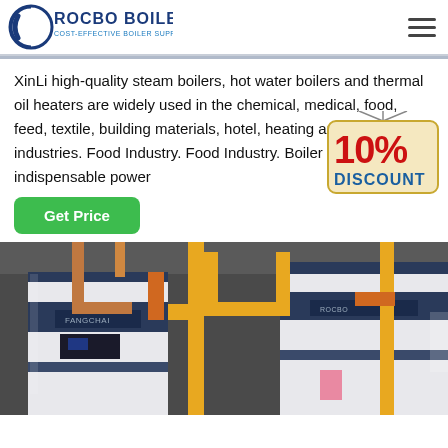[Figure (logo): Rocbo Boiler logo with circular C-shaped emblem and tagline 'COST-EFFECTIVE BOILER SUPPLIER']
XinLi high-quality steam boilers, hot water boilers and thermal oil heaters are widely used in the chemical, medical, food, feed, textile, building materials, hotel, heating and other industries. Food Industry. Food Industry. Boiler is an indispensable power
[Figure (infographic): 10% DISCOUNT badge — red and blue text on a hanging tag shape]
[Figure (photo): Industrial boiler room showing large white boiler units with yellow and orange pipe connections in an indoor facility]